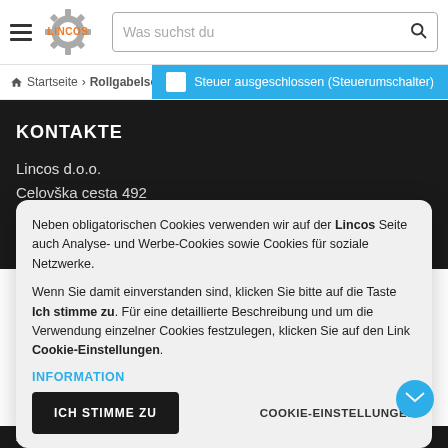LINCOS — Was suchst du
Startseite › Rollgabelsc… Steuer ausgeschlossen (Steuerumschalter)
KONTAKTE
Lincos d.o.o.
Celovška cesta 492
Neben obligatorischen Cookies verwenden wir auf der Lincos Seite auch Analyse- und Werbe-Cookies sowie Cookies für soziale Netzwerke.

Wenn Sie damit einverstanden sind, klicken Sie bitte auf die Taste Ich stimme zu. Für eine detaillierte Beschreibung und um die Verwendung einzelner Cookies festzulegen, klicken Sie auf den Link Cookie-Einstellungen.
INFORMATION
ICH STIMME ZU
COOKIE-EINSTELLUNGEN
Allgemeine Geschäftsbedingungen